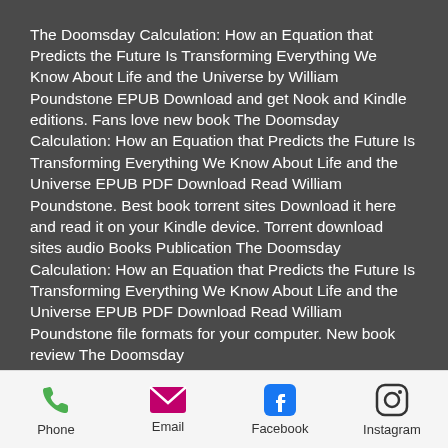The Doomsday Calculation: How an Equation that Predicts the Future Is Transforming Everything We Know About Life and the Universe by William Poundstone EPUB Download and get Nook and Kindle editions. Fans love new book The Doomsday Calculation: How an Equation that Predicts the Future Is Transforming Everything We Know About Life and the Universe EPUB PDF Download Read William Poundstone. Best book torrent sites Download it here and read it on your Kindle device. Torrent download sites audio Books Publication The Doomsday Calculation: How an Equation that Predicts the Future Is Transforming Everything We Know About Life and the Universe EPUB PDF Download Read William Poundstone file formats for your computer. New book review The Doomsday...
Phone | Email | Facebook | Instagram